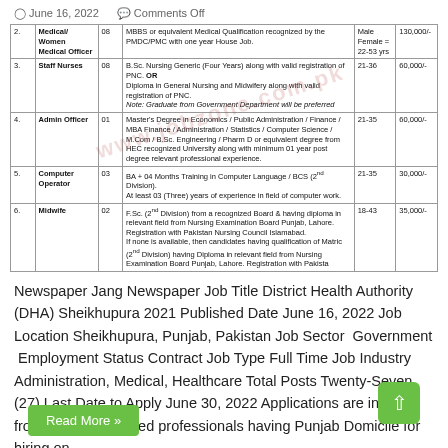June 16, 2022   Comments Off
| # | Post | No. | Qualification | Age | Pay |
| --- | --- | --- | --- | --- | --- |
| 2. | Medical/Women Medical Officer | 08 | MBBS or equivalent Medical Qualification recognized by the PMDC/PMC with one year House Job. | Male Female = 22-53 yrs | 130,000/- |
| 3. | Staff Nurses | 08 | B.Sc. Nursing Generic (Four Years) along with valid registration of PNC. OR Diploma in General Nursing and Midwifery along with valid registration of PNC.
Note: Graduate from Government Department will be preferred | 21-36 | 60,000/- |
| 4. | Admin Officer | 01 | Master's Degree in Economics / Public Administration / Finance / MBA Finance / Administration / Statistics / Computer Science / M.Com / B.Sc. Engineering / Pharm D or equivalent degree from HEC recognized University along with minimum 01 year post degree relevant professional experience. | 21-35 | 60,000/- |
| 5. | Computer Operator | 03 | BA + 04 Months Training in Computer Language / BCS (2nd Division).
At least 03 (Three) years of experience in field of computer work. | 21-35 | 30,000/- |
| 6. | Midwife | 02 | F.Sc. (2nd Division) from a recognized Board & having diploma in relevant field from Nursing Examination Board Punjab, Lahore. Registration with Pakistan Nursing Council Islamabad.
If none is available, then candidates having qualification of Matric (2nd Division) having Diploma in relevant field from Nursing Examination Board Punjab, Lahore. Registration with Pakistan... | 18-43 | 35,000/- |
Newspaper Jang Newspaper Job Title District Health Authority (DHA) Sheikhupura 2021 Published Date June 16, 2022 Job Location Sheikhupura, Punjab, Pakistan Job Sector  Government  Employment Status Contract Job Type Full Time Job Industry Administration, Medical, Healthcare Total Posts Twenty-Seven (27) Last Date to Apply June 30, 2022 Applications are invited from suitably qualified professionals having Punjab Domicile for hiring on …
Read More »